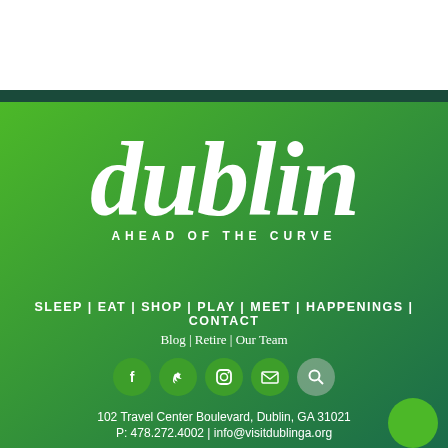[Figure (logo): Dublin 'Ahead of the Curve' tourism logo in white script on green background]
SLEEP | EAT | SHOP | PLAY | MEET | HAPPENINGS | CONTACT
Blog | Retire | Our Team
[Figure (other): Social media icons: Facebook, Twitter, Instagram, Email, Search]
102 Travel Center Boulevard, Dublin, GA 31021
P: 478.272.4002 | info@visitdublinga.org